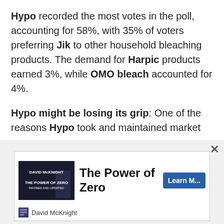Hypo recorded the most votes in the poll, accounting for 58%, with 35% of voters preferring Jik to other household bleaching products. The demand for Harpic products earned 3%, while OMO bleach accounted for 4%.
Hypo might be losing its grip: One of the reasons Hypo took and maintained market leadership in the household bleach market was because of the testimonials of customers who are willing to sacrifice brand name for something new. Now, that same testimony is gradually biting the company. This is because some customers are
[Figure (other): Advertisement for 'The Power of Zero' by David McKnight with a thumbnail image of a presenter, title text 'The Power of Zero', a 'Learn M...' button, and David McKnight author name at bottom.]